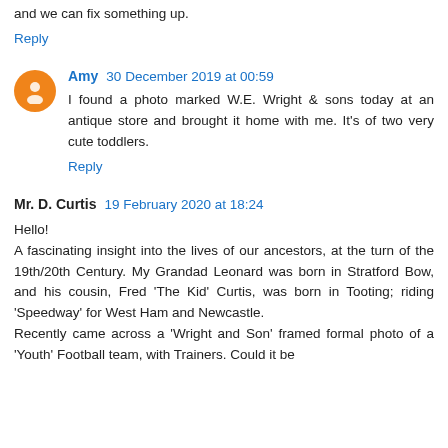and we can fix something up.
Reply
Amy 30 December 2019 at 00:59
I found a photo marked W.E. Wright & sons today at an antique store and brought it home with me. It's of two very cute toddlers.
Reply
Mr. D. Curtis 19 February 2020 at 18:24
Hello!
A fascinating insight into the lives of our ancestors, at the turn of the 19th/20th Century. My Grandad Leonard was born in Stratford Bow, and his cousin, Fred 'The Kid' Curtis, was born in Tooting; riding 'Speedway' for West Ham and Newcastle.
Recently came across a 'Wright and Son' framed formal photo of a 'Youth' Football team, with Trainers. Could it be